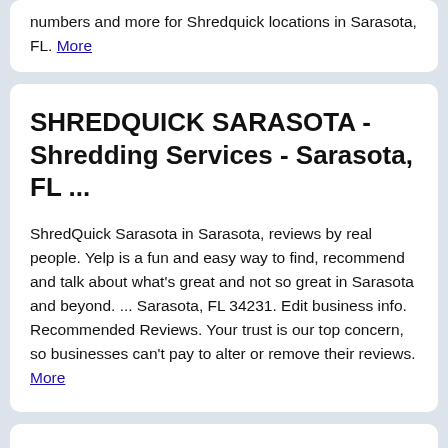numbers and more for Shredquick locations in Sarasota, FL. More
SHREDQUICK SARASOTA - Shredding Services - Sarasota, FL ...
ShredQuick Sarasota in Sarasota, reviews by real people. Yelp is a fun and easy way to find, recommend and talk about what's great and not so great in Sarasota and beyond. ... Sarasota, FL 34231. Edit business info. Recommended Reviews. Your trust is our top concern, so businesses can't pay to alter or remove their reviews. More
ShredQuick Sarasota - Paper